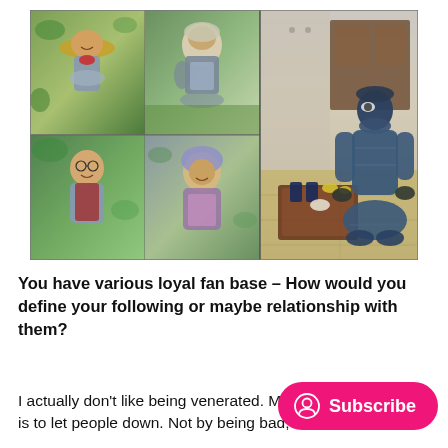[Figure (photo): A collage of photos. On the left side, a 2x2 grid of four photos showing elderly Asian people in traditional or rural clothing — top-left: a woman with a wide straw hat and red scarf in a garden; top-right: a woman with a light head covering in a field; bottom-left: an elderly man with glasses in a garden; bottom-right: a woman with a purple head covering. On the right side, a larger photo of a person in a full dark blue padded suit with a balaclava and eye mask, kneeling on a tatami floor beside a low Japanese table.]
You have various loyal fan base – How would you define your following or maybe relationship with them?
I actually don't like being venerated. My inner wish is to let people down. Not by being bad,